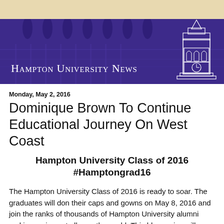Hampton University News
Monday, May 2, 2016
Dominique Brown To Continue Educational Journey On West Coast
Hampton University Class of 2016 #Hamptongrad16
The Hampton University Class of 2016 is ready to soar. The graduates will don their caps and gowns on May 8, 2016 and join the ranks of thousands of Hampton University alumni making an impact all over the world. This blog series will feature a different member of Class of 2016 during Commencement week.